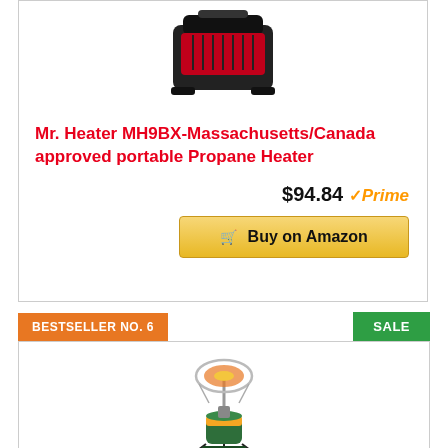[Figure (photo): Mr. Heater MH9BX portable propane heater product photo]
Mr. Heater MH9BX-Massachusetts/Canada approved portable Propane Heater
$94.84 Prime
Buy on Amazon
BESTSELLER NO. 6
SALE
[Figure (photo): Portable propane radiant heater product photo — second product listing]